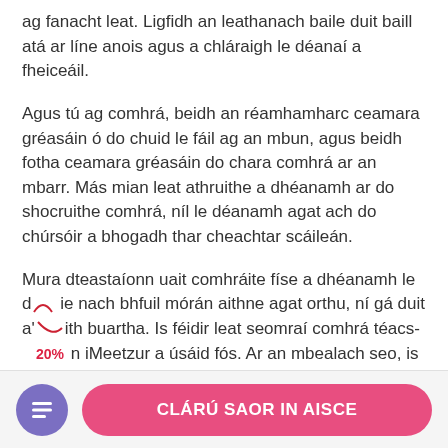ag fanacht leat. Ligfidh an leathanach baile duit baill atá ar líne anois agus a chláraigh le déanaí a fheiceáil.
Agus tú ag comhrá, beidh an réamhamharc ceamara gréasáin ó do chuid le fáil ag an mbun, agus beidh fotha ceamara gréasáin do chara comhrá ar an mbarr. Más mian leat athruithe a dhéanamh ar do shocruithe comhrá, níl le déanamh agat ach do chúrsóir a bhogadh thar cheachtar scáileán.
Mura dteastaíonn uait comhráite físe a dhéanamh le d. ie nach bhfuil mórán aithne agat orthu, ní gá duit a' ith buartha. Is féidir leat seomraí comhrá téacs- c n iMeetzur a úsáid fós. Ar an mbealach seo, is féidir leat an rogha a bheith agat ach comhráite físe a
[Figure (other): Red annotation marks (caret and curved line) with '20%' label overlaid on text]
CLÁRÚ SAOR IN AISCE